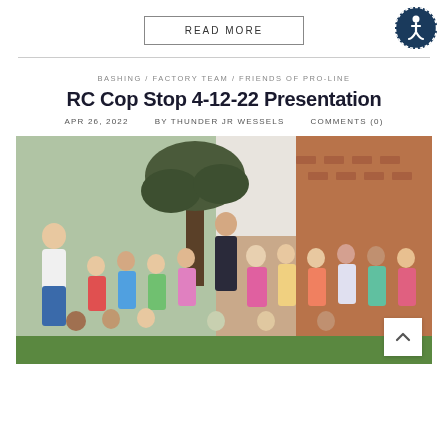READ MORE
[Figure (illustration): Accessibility icon — blue circle with white wheelchair/person symbol]
BASHING / FACTORY TEAM / FRIENDS OF PRO-LINE
RC Cop Stop 4-12-22 Presentation
APR 26, 2022   BY THUNDER JR WESSELS   COMMENTS (0)
[Figure (photo): Group photo of young children and adults including a police officer, posed outdoors in front of a brick building and a tree]